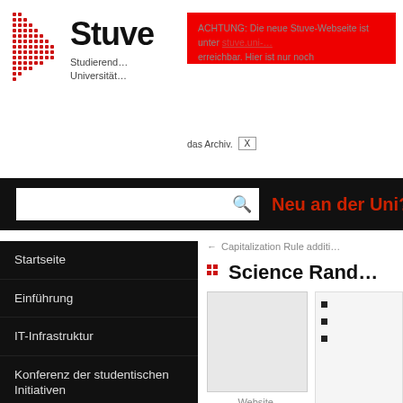[Figure (logo): Stuve logo with red dot grid and text 'Stuve Studierendenvertretung Universität']
ACHTUNG: Die neue Stuve-Webseite ist unter [link] erreichbar. Hier ist nur noch das Archiv. X
[Figure (screenshot): Search bar with magnifying glass icon on black background]
Neu an der Uni?
Startseite
Einführung
IT-Infrastruktur
Konferenz der studentischen Initiativen
Mailverteiler
Termine
Studierendenvertretung
Referate & Arbeitskreise
← Capitalization Rule additi…
Science Rand…
Website-Einstellung
Conta…